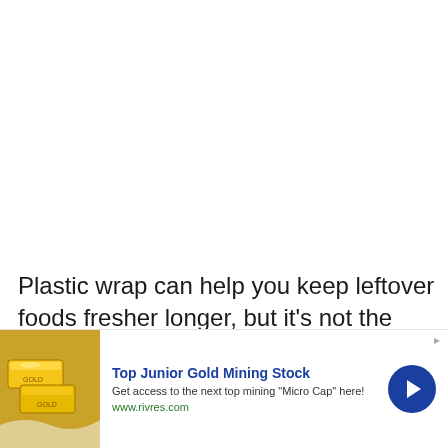Plastic wrap can help you keep leftover foods fresher longer, but it's not the most sustainable solution. Instead of loading up on plastic wrap every month, try an alternative solution like these reusable wraps
[Figure (other): Advertisement banner: Top Junior Gold Mining Stock. Image of gold bars on left. Blue circle arrow button on right. Text: Get access to the next top mining 'Micro Cap' here! URL: www.rivres.com]